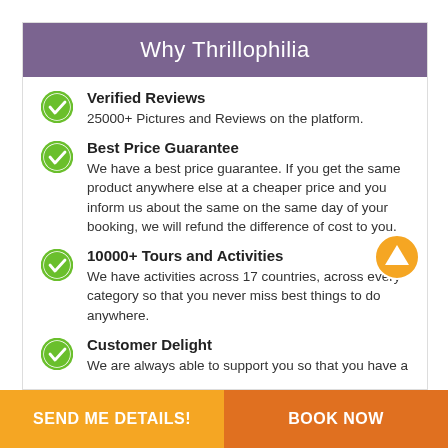Why Thrillophilia
Verified Reviews
25000+ Pictures and Reviews on the platform.
Best Price Guarantee
We have a best price guarantee. If you get the same product anywhere else at a cheaper price and you inform us about the same on the same day of your booking, we will refund the difference of cost to you.
10000+ Tours and Activities
We have activities across 17 countries, across every category so that you never miss best things to do anywhere.
Customer Delight
We are always able to support you so that you have a
SEND ME DETAILS!    BOOK NOW